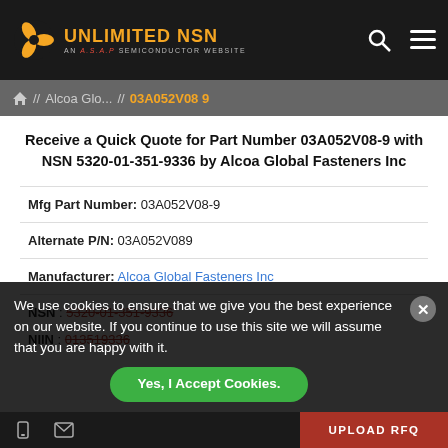UNLIMITED NSN — AN A.S.A.P SEMICONDUCTOR WEBSITE
Home // Alcoa Glo... // 03A052V08 9
Receive a Quick Quote for Part Number 03A052V08-9 with NSN 5320-01-351-9336 by Alcoa Global Fasteners Inc
Mfg Part Number: 03A052V08-9
Alternate P/N: 03A052V089
Manufacturer: Alcoa Global Fasteners Inc
NSN : 5320-01-351-9336
NIIN : 013519336
We use cookies to ensure that we give you the best experience on our website. If you continue to use this site we will assume that you are happy with it.
Yes, I Accept Cookies.